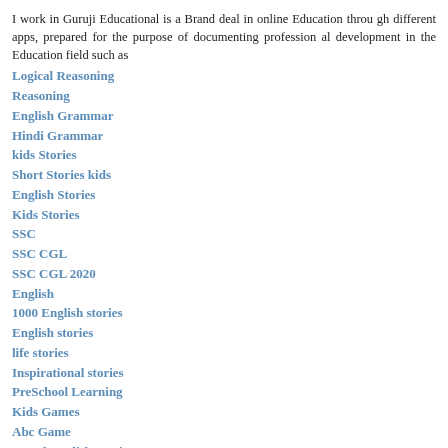I work in Guruji Educational is a Brand deal in online Education through different apps, prepared for the purpose of documenting professional development in the Education field such as
Logical Reasoning
Reasoning
English Grammar
Hindi Grammar
kids Stories
Short Stories kids
English Stories
Kids Stories
SSC
SSC CGL
SSC CGL 2020
English
1000 English stories
English stories
life stories
Inspirational stories
PreSchool Learning
Kids Games
Abc Game
Moral English Stories
Moral Stories
Short Stories
Watch our latest video on youtube
Aswatthama Still Alive
Aswatthama Curse